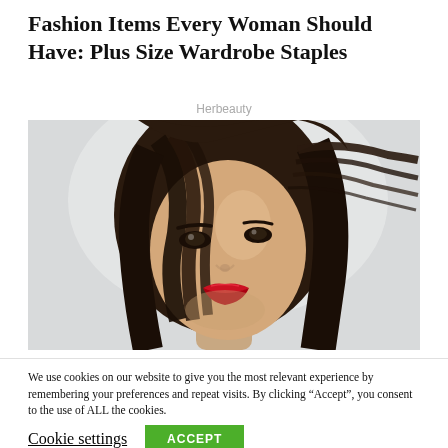Fashion Items Every Woman Should Have: Plus Size Wardrobe Staples
Herbeauty
[Figure (photo): Close-up portrait photo of a young Asian woman with long dark hair blowing across her face, wearing red lipstick, against a light grey background.]
We use cookies on our website to give you the most relevant experience by remembering your preferences and repeat visits. By clicking “Accept”, you consent to the use of ALL the cookies.
Cookie settings    ACCEPT